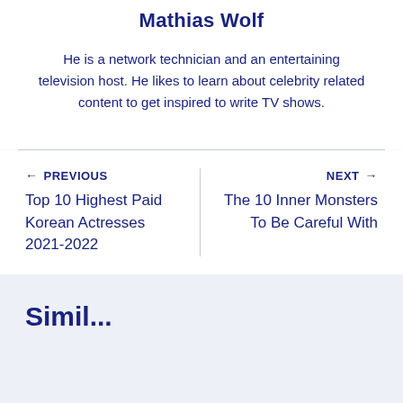Mathias Wolf
He is a network technician and an entertaining television host. He likes to learn about celebrity related content to get inspired to write TV shows.
← PREVIOUS
Top 10 Highest Paid Korean Actresses 2021-2022
NEXT →
The 10 Inner Monsters To Be Careful With
Similar Posts